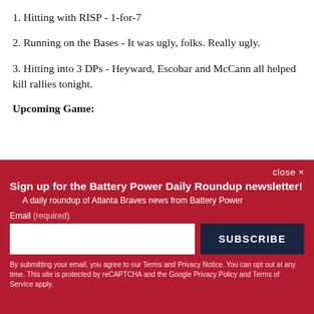1. Hitting with RISP - 1-for-7
2. Running on the Bases - It was ugly, folks. Really ugly.
3. Hitting into 3 DPs - Heyward, Escobar and McCann all helped kill rallies tonight.
Upcoming Game:
close ×
Sign up for the Battery Power Daily Roundup newsletter!
A daily roundup of Atlanta Braves news from Battery Power
Email (required)
SUBSCRIBE
By submitting your email, you agree to our Terms and Privacy Notice. You can opt out at any time. This site is protected by reCAPTCHA and the Google Privacy Policy and Terms of Service apply.